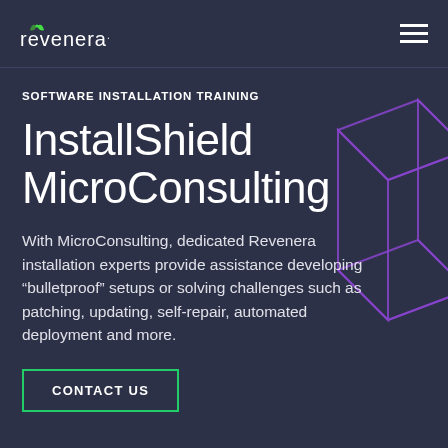revenera
SOFTWARE INSTALLATION TRAINING
InstallShield MicroConsulting
With MicroConsulting, dedicated Revenera installation experts provide assistance developing “bulletproof” setups or solving challenges such as patching, updating, self-repair, automated deployment and more.
CONTACT US